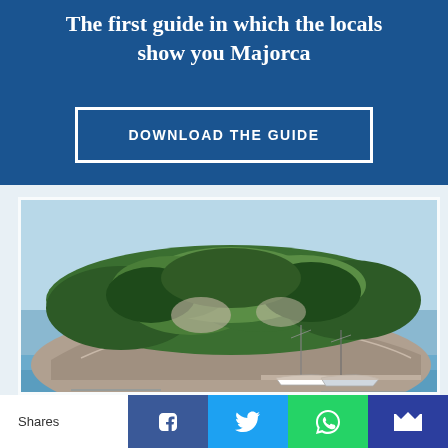The first guide in which the locals show you Majorca
DOWNLOAD THE GUIDE
[Figure (photo): A rocky island covered with green pine trees and a marina with sailboats in the foreground, Majorca, Spain.]
Shares